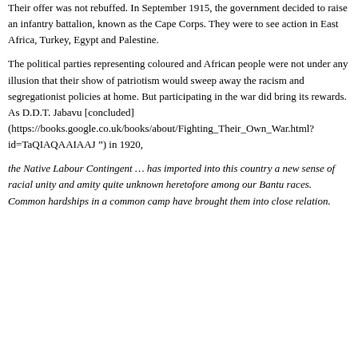Their offer was not rebuffed. In September 1915, the government decided to raise an infantry battalion, known as the Cape Corps. They were to see action in East Africa, Turkey, Egypt and Palestine.
The political parties representing coloured and African people were not under any illusion that their show of patriotism would sweep away the racism and segregationist policies at home. But participating in the war did bring its rewards. As D.D.T. Jabavu [concluded] (https://books.google.co.uk/books/about/Fighting_Their_Own_War.html?id=TaQIAQAAIAAJ ”) in 1920,
the Native Labour Contingent … has imported into this country a new sense of racial unity and amity quite unknown heretofore among our Bantu races. Common hardships in a common camp have brought them into close relation.